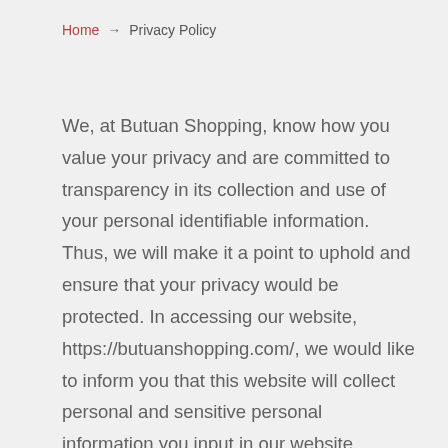Home → Privacy Policy
We, at Butuan Shopping, know how you value your privacy and are committed to transparency in its collection and use of your personal identifiable information. Thus, we will make it a point to uphold and ensure that your privacy would be protected. In accessing our website, https://butuanshopping.com/, we would like to inform you that this website will collect personal and sensitive personal information you input in our website. Because your